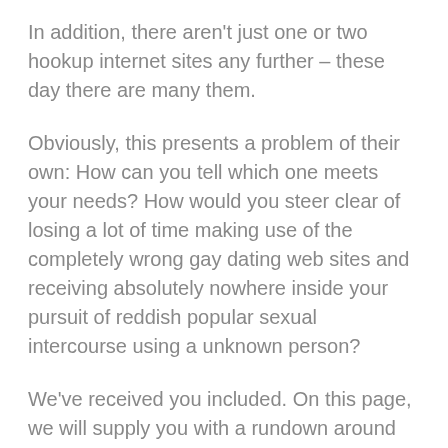In addition, there aren't just one or two hookup internet sites any further – these day there are many them.
Obviously, this presents a problem of their own: How can you tell which one meets your needs? How would you steer clear of losing a lot of time making use of the completely wrong gay dating web sites and receiving absolutely nowhere inside your pursuit of reddish popular sexual intercourse using a unknown person?
We've received you included. On this page, we will supply you with a rundown around the very best gay hookup software on the planet at this time, and we'll